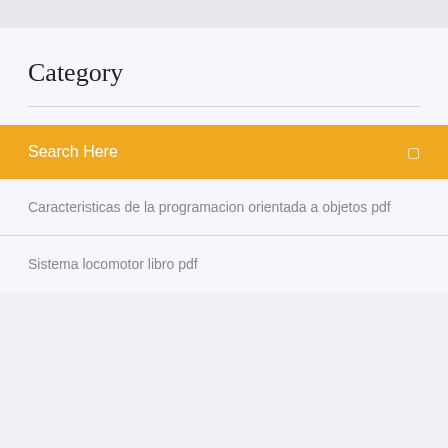Category
Search Here
Caracteristicas de la programacion orientada a objetos pdf
Sistema locomotor libro pdf